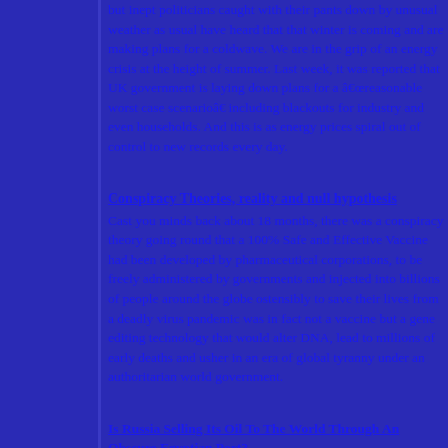but inept politicians caught with their pants down by unusual weather as usual have heard that that winter is coming and are making plans for a coldwave. We are in the grip of an energy crisis at the height of summer. Last week, it was reported that UK government is laying down plans for a “reasonable worst case scenario” including blackouts for industry and even households. And this is as energy prices spiral out of control to new records every day.
Conspiracy Theories, reality and null hypothesis
Cast you minds back about 18 months, there was a conspiracy theory going round that a 100% Safe and Effective Vaccine had been developed by pharmaceutical corporations, to be freely administered by governments and injected into billions of people around the globe ostensibly to save their lives from a deadly virus pandemic was in fact not a vaccine but a gene editing technology that would alter DNA, lead to millions of early deaths and usher in an era of global tyranny under an authoritarian world government.
Is Russia Selling Its Oil To The World Through An Obscure Egyptian Port?
As this blog predicted when NATO and EU member states shot themselves in the foot by reacting to Russia's invasion of Ukraine with sanctions that prevented Russia from selling oil, gas and vital raw materials to the countries that needed them most the